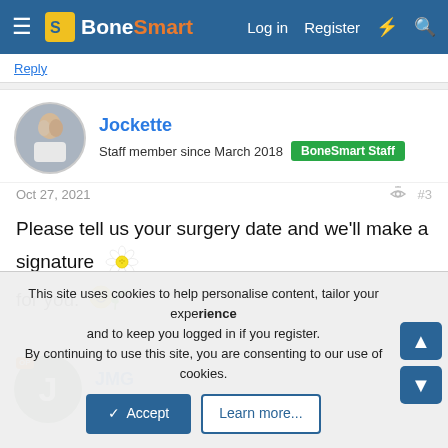BoneSmart — Log in   Register
Jockette
Staff member since March 2018  BoneSmart Staff
Oct 27, 2021  #3
Please tell us your surgery date and we'll make a signature for you.
JMG
new member
This site uses cookies to help personalise content, tailor your experience and to keep you logged in if you register.
By continuing to use this site, you are consenting to our use of cookies.